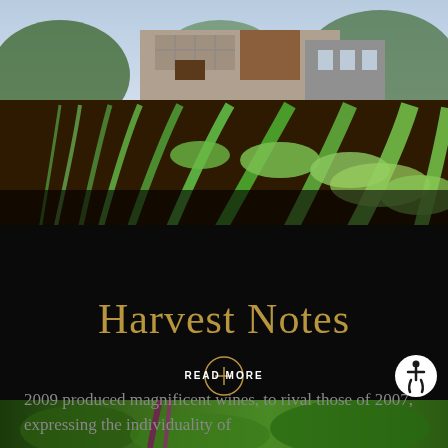[Figure (photo): Aerial/ground-level view of green vineyard rows with a modern winery building in the background featuring stone and wood architecture, surrounded by mountains and trees]
Harvest Notes
READ MORE
2009 produced magnificent wines, to rival those of 2007, expressing the individuality of
[Figure (photo): Close-up of green grape leaves and grape clusters at the bottom of the page]